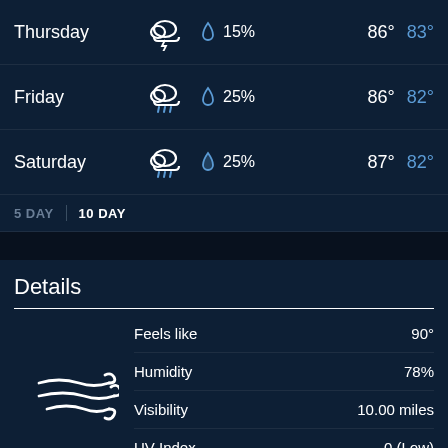| Day | Icon | Precip | High | Low |
| --- | --- | --- | --- | --- |
| Thursday | thunderstorm | 15% | 86° | 83° |
| Friday | rain | 25% | 86° | 82° |
| Saturday | rain | 25% | 87° | 82° |
5 DAY | 10 DAY
Details
| Metric | Value |
| --- | --- |
| Feels like | 90° |
| Humidity | 78% |
| Visibility | 10.00 miles |
| UV Index | 0 (Low) |
Tonight - Windy with a 25% chance of precipitation. Winds from E to ESE at 37 to 40 mph (59.5 to 64.4 kph). The overnight low will be 82 °F (27.8 °C).
Today - Rain with a high of 85 °F (29.4 °C) and a 25% chance of